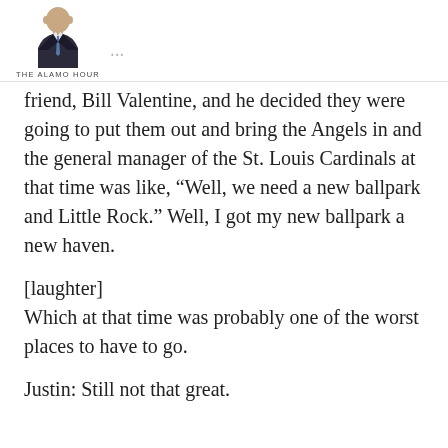THE ALAMO HOUR
friend, Bill Valentine, and he decided they were going to put them out and bring the Angels in and the general manager of the St. Louis Cardinals at that time was like, “Well, we need a new ballpark and Little Rock.” Well, I got my new ballpark a new haven.
[laughter]
Which at that time was probably one of the worst places to have to go.
Justin: Still not that great.